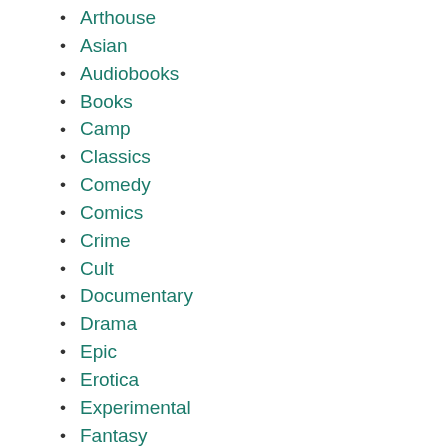Arthouse
Asian
Audiobooks
Books
Camp
Classics
Comedy
Comics
Crime
Cult
Documentary
Drama
Epic
Erotica
Experimental
Fantasy
Film Noir
Giallo
Horror